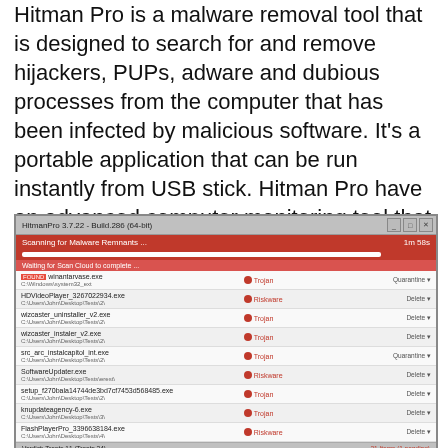Hitman Pro is a malware removal tool that is designed to search for and remove hijackers, PUPs, adware and dubious processes from the computer that has been infected by malicious software. It's a portable application that can be run instantly from USB stick. Hitman Pro have an advanced computer monitoring tool that uses a whitelist database to isolate suspicious processes and applications.
[Figure (screenshot): Hitman Pro 3.7.22 application window scanning for malware remnants, showing a list of detected threats including Trojan and Riskware items such as winantarvase.exe, HDVideoPlayer_3267022934.exe, wizcaster_uninstaller_v2.exe, wizcaster_instaler_v2.exe, src_arc_instalcapitol_int.exe, SoftwareUpdater.exe, setup_f270bala14744de3bd7cf7453d568485.exe, knupdateagency-6.exe, FlashPlayerPro_3396638184.exe with quarantine and delete options.]